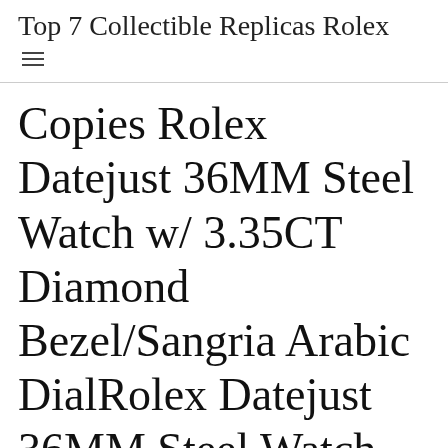Top 7 Collectible Replicas Rolex
Copies Rolex Datejust 36MM Steel Watch w/ 3.35CT Diamond Bezel/Sangria Arabic DialRolex Datejust 36MM Steel Watch w/ 3.35CT Diamond